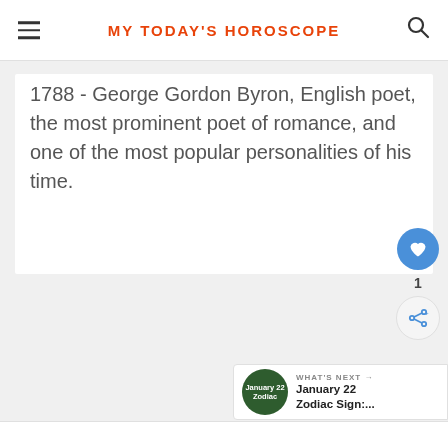MY TODAY'S HOROSCOPE
1788 - George Gordon Byron, English poet, the most prominent poet of romance, and one of the most popular personalities of his time.
[Figure (infographic): Like button (heart icon in blue circle) with count of 1, and share icon button below]
[Figure (infographic): What's Next navigation bar showing January 22 Zodiac Sign with green circular badge]